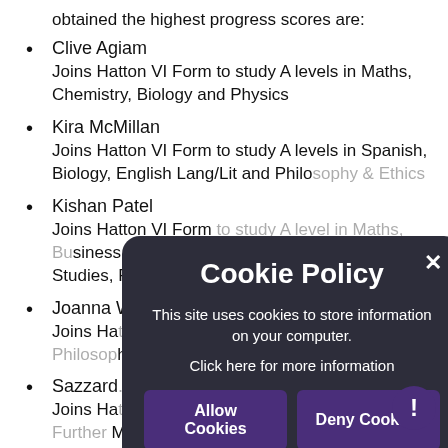obtained the highest progress scores are:
Clive Agiam
Joins Hatton VI Form to study A levels in Maths, Chemistry, Biology and Physics
Kira McMillan
Joins Hatton VI Form to study A levels in Spanish, Biology, English Lang/Lit and Philosophy & Ethics
Kishan Patel
Joins Hatton VI Form to study A level in Maths, Business Studies, Physics and Further Maths
Joanna W...
Joins Hatton VI Form to study... Philosophy & Ph...
Sazzard...
Joins Hatton VI Form to study...
Further Maths...
Special mention must go to Nam Patel who has deservedly been awarded... of his...